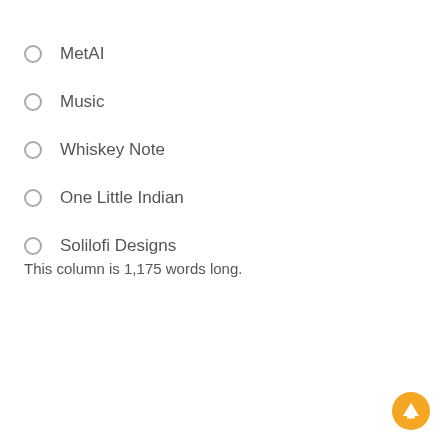MetAI
Music
Whiskey Note
One Little Indian
Solilofi Designs
This column is 1,175 words long.